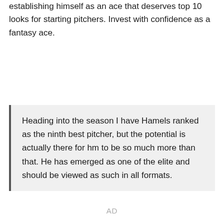establishing himself as an ace that deserves top 10 looks for starting pitchers. Invest with confidence as a fantasy ace.
Heading into the season I have Hamels ranked as the ninth best pitcher, but the potential is actually there for hm to be so much more than that. He has emerged as one of the elite and should be viewed as such in all formats.
AD